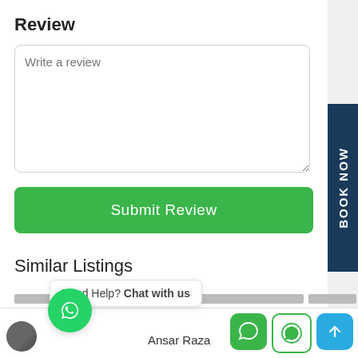Review
[Figure (screenshot): Text area input field with placeholder text 'Write a review' and a green Submit Review button below it]
Similar Listings
[Figure (screenshot): Bottom UI bar with WhatsApp bubble icon, user photo, chat popup saying 'Need Help? Chat with us', user name 'Ansar Raza', and three action buttons (green chat, WhatsApp outline, blue arrow up). A dark blue 'BOOK NOW' vertical tab on right side.]